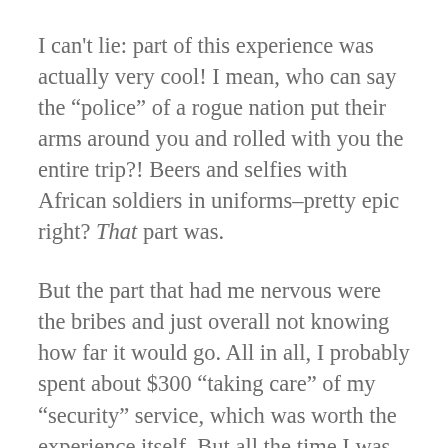I can't lie: part of this experience was actually very cool! I mean, who can say the “police” of a rogue nation put their arms around you and rolled with you the entire trip?! Beers and selfies with African soldiers in uniforms–pretty epic right? That part was.
But the part that had me nervous were the bribes and just overall not knowing how far it would go. All in all, I probably spent about $300 “taking care” of my “security” service, which was worth the experience itself. But all the time I was preoccupied wondering, “just how far will this go?” What’s to stop them from asking for